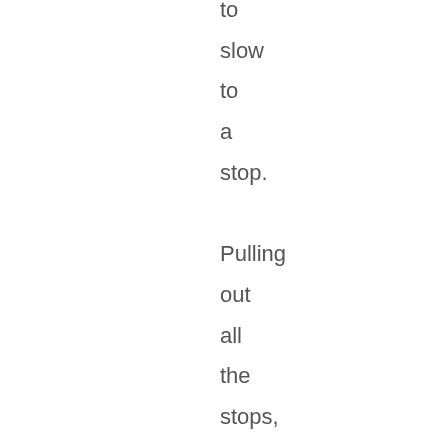to slow to a stop. Pulling out all the stops, I took the left onto North Williston Road (you can get out your